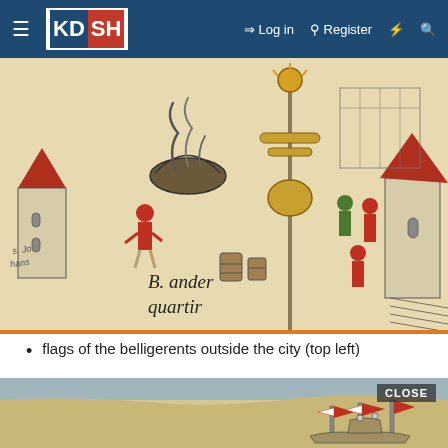KD SH — Log in | Register
[Figure (illustration): Detail of a medieval city map or woodcut illustration showing buildings with red rooftops, figures in period clothing, a large decorative pole/fountain in the center, barrels, and text reading 'B. ander quartir' and 's. Jo hans'. The image is colored in warm tones of beige, red, green, and brown.]
flags of the belligerents outside the city (top left)
[Figure (illustration): Partial view of another medieval illustration or map showing a river or water body in blue-grey at the top, and colorful red striped flags or banners and ships/boats visible at the bottom right, on a beige background. A 'CLOSE' button overlay appears in the upper right.]